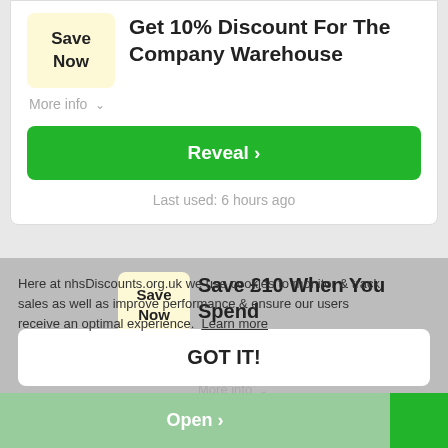[Figure (screenshot): Save Now badge (yellow box) next to deal title]
Get 10% Discount For The Company Warehouse
More info
Reveal >
Last used: 6 hours ago
Here at nhsDiscounts.org.uk we use cookies to monitor & track sales as well as improve performance & ensure our users receive an optimal experience. Learn more
Save £10 When You Spend Over £100 At The Company Warehouse
More info
GOT IT!
Open >